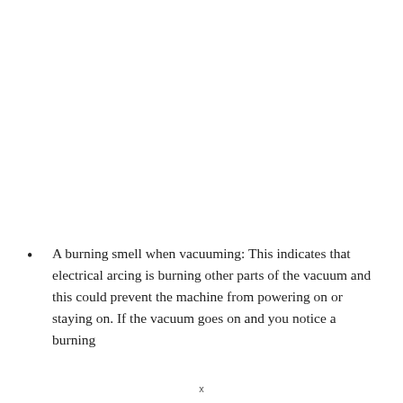A burning smell when vacuuming: This indicates that electrical arcing is burning other parts of the vacuum and this could prevent the machine from powering on or staying on. If the vacuum goes on and you notice a burning
x